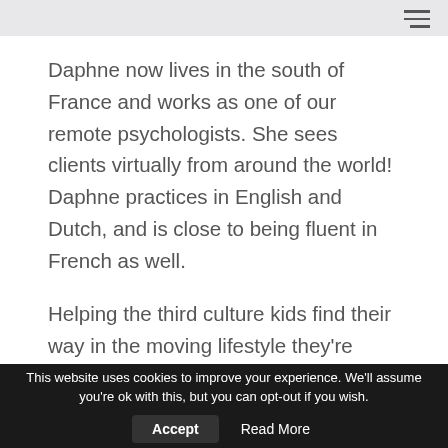Daphne now lives in the south of France and works as one of our remote psychologists. She sees clients virtually from around the world! Daphne practices in English and Dutch, and is close to being fluent in French as well.
Helping the third culture kids find their way in the moving lifestyle they’re living and being part of their growth. Daphne is passionate about supporting kids and teens find their place in the world. Life can be challenging and she is experienced in putting that puzzle together!
Want to get in contact with Daphne? Email her at
This website uses cookies to improve your experience. We’ll assume you’re ok with this, but you can opt-out if you wish. Accept Read More